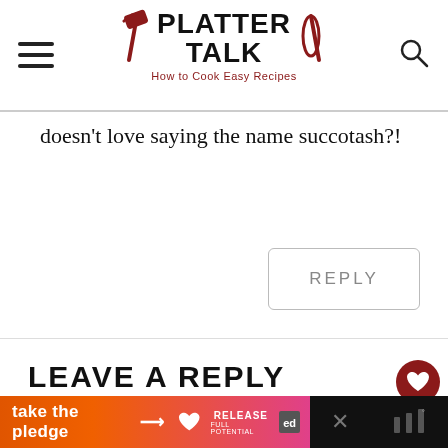PLATTER TALK – How to Cook Easy Recipes
doesn't love saying the name succotash?!
REPLY
LEAVE A REPLY
Your email address will not be published.
take the pledge →